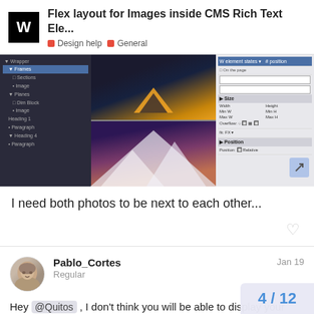Flex layout for Images inside CMS Rich Text Ele... | Design help | General
[Figure (screenshot): Screenshot of a web design tool showing a navigation tree panel on the left, two stacked photos in the center (tent at night and mountain at night), and a properties/settings panel on the right.]
I need both photos to be next to each other...
Pablo_Cortes
Regular
Jan 19
Hey @Quitos , I don't think you will be able to display your images next to each other inside a RTE. What you can do is to create a grid with images from the c displayed between the content.
4 / 12